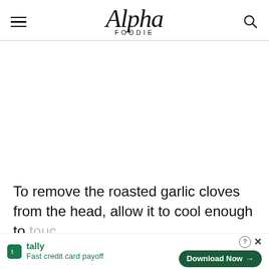Alpha Foodie
[Figure (photo): Large white/blank image area representing a food photo placeholder]
To remove the roasted garlic cloves from the head, allow it to cool enough to touc
[Figure (infographic): Advertisement banner: Tally app - Fast credit card payoff - Download Now button]